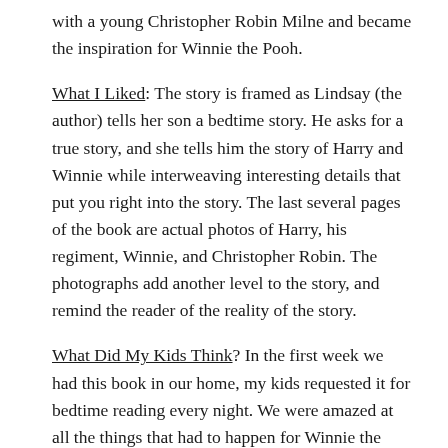with a young Christopher Robin Milne and became the inspiration for Winnie the Pooh.
What I Liked: The story is framed as Lindsay (the author) tells her son a bedtime story. He asks for a true story, and she tells him the story of Harry and Winnie while interweaving interesting details that put you right into the story. The last several pages of the book are actual photos of Harry, his regiment, Winnie, and Christopher Robin. The photographs add another level to the story, and remind the reader of the reality of the story.
What Did My Kids Think? In the first week we had this book in our home, my kids requested it for bedtime reading every night. We were amazed at all the things that had to happen for Winnie the Pooh to be named – Harry happened to meet and buy Winnie, his regiment allowed Winnie to be adopted as their mascot, the London Zoo took Winnie in, and Christopher Robin became friends with her (a few...